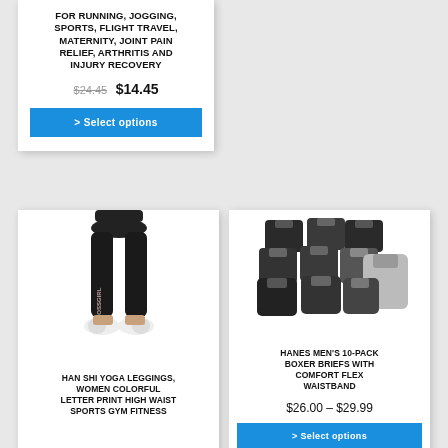FOR RUNNING, JOGGING, SPORTS, FLIGHT TRAVEL, MATERNITY, JOINT PAIN RELIEF, ARTHRITIS AND INJURY RECOVERY
$24.45  $14.45
> Select options
[Figure (photo): Woman wearing black #BOSSGIRL yoga leggings and white sneakers]
HAN SHI YOGA LEGGINGS, WOMEN COLORFUL LETTER PRINT HIGH WAIST SPORTS GYM FITNESS
[Figure (photo): Hanes Men's 10-Pack Boxer Briefs with Comfort Flex Waistband, showing multiple black and grey boxer briefs arranged together]
HANES MEN'S 10-PACK BOXER BRIEFS WITH COMFORT FLEX WAISTBAND
$26.00 – $29.99
> Select options